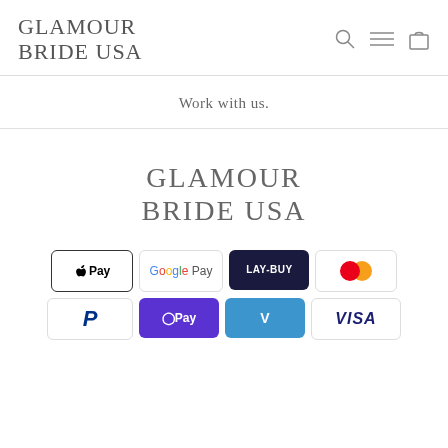GLAMOUR BRIDE USA
Work with us.
[Figure (logo): GLAMOUR BRIDE USA logo centered on page]
[Figure (infographic): Payment method icons: Apple Pay, Google Pay, LAY-BUY, Mastercard, PayPal, OPay, Venmo, Visa]